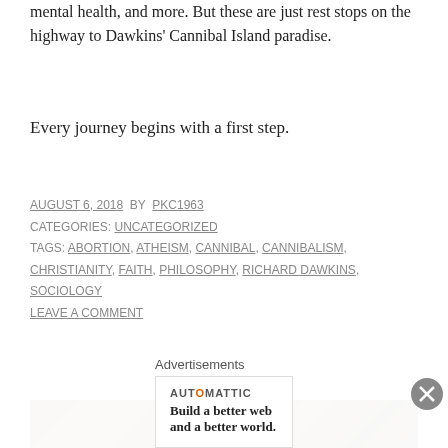mental health, and more. But these are just rest stops on the highway to Dawkins' Cannibal Island paradise.
Every journey begins with a first step.
AUGUST 6, 2018 BY PKC1963
CATEGORIES: UNCATEGORIZED
TAGS: ABORTION, ATHEISM, CANNIBAL, CANNIBALISM, CHRISTIANITY, FAITH, PHILOSOPHY, RICHARD DAWKINS, SOCIOLOGY
LEAVE A COMMENT
[Figure (photo): Partial view of a classical painting showing figures with dark warm tones]
Advertisements
AUTOMATTIC — Build a better web and a better world.